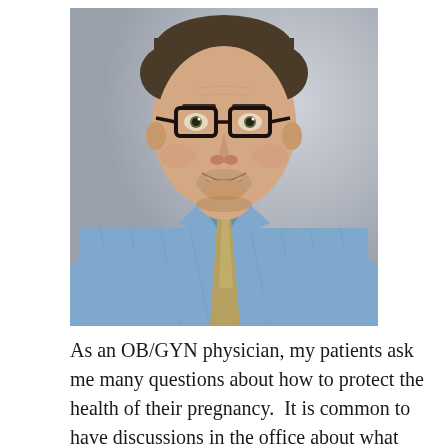[Figure (photo): Professional headshot of a male OB/GYN physician wearing glasses, a blue patterned shirt, and a gold/tan tie, smiling at the camera against a neutral gray background.]
As an OB/GYN physician, my patients ask me many questions about how to protect the health of their pregnancy.  It is common to have discussions in the office about what